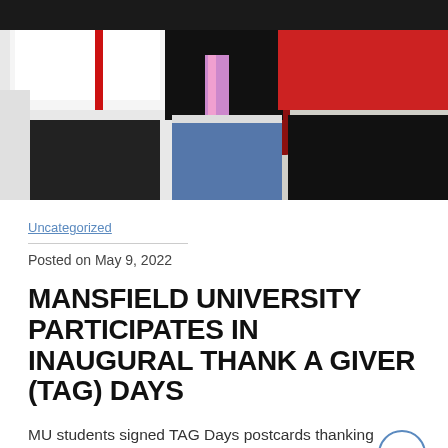[Figure (photo): Three people standing together indoors in front of a wall with an 'M' logo. One person wears white, one wears black top with jeans and a floral scarf, one wears a red shirt. They appear to be holding items.]
Uncategorized
Posted on May 9, 2022
MANSFIELD UNIVERSITY PARTICIPATES IN INAUGURAL THANK A GIVER (TAG) DAYS
MU students signed TAG Days postcards thanking university donors MANSFIELD, Pa. —